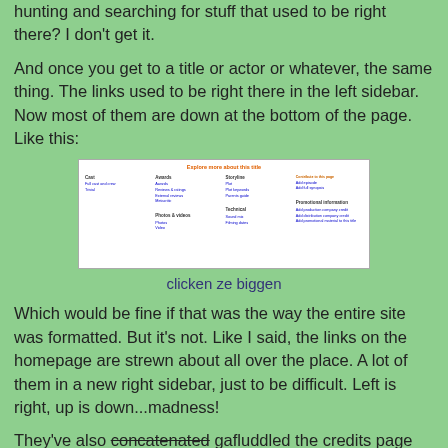hunting and searching for stuff that used to be right there? I don't get it.
And once you get to a title or actor or whatever, the same thing. The links used to be right there in the left sidebar. Now most of them are down at the bottom of the page. Like this:
[Figure (screenshot): Screenshot of an IMDb page showing 'Explore more about this title' section with multiple columns of links including Cast, Awards, Storyline, Photos & videos, External Sites, and feedback/promotional links in orange.]
clicken ze biggen
Which would be fine if that was the way the entire site was formatted. But it's not. Like I said, the links on the homepage are strewn about all over the place. A lot of them in a new right sidebar, just to be difficult. Left is right, up is down...madness!
They've also concatenated gafluddled the credits page for actors, directors, writers and such.  So you have to expand the credits for them as a writer or producer if they are mostly